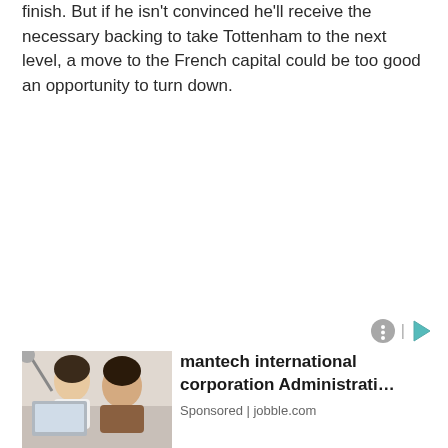finish. But if he isn't convinced he'll receive the necessary backing to take Tottenham to the next level, a move to the French capital could be too good an opportunity to turn down.
[Figure (photo): Advertisement banner showing two women working at computers in an office setting, with ad icons (settings circle and play button) in top right corner]
mantech international corporation Administrati… Sponsored | jobble.com